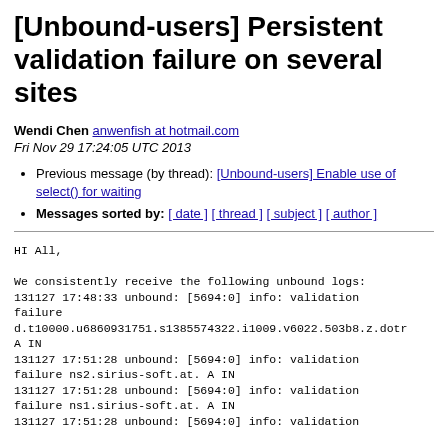[Unbound-users] Persistent validation failure on several sites
Wendi Chen anwenfish at hotmail.com
Fri Nov 29 17:24:05 UTC 2013
Previous message (by thread): [Unbound-users] Enable use of select() for waiting
Messages sorted by: [ date ] [ thread ] [ subject ] [ author ]
HI All,

We consistently receive the following unbound logs:
131127 17:48:33 unbound: [5694:0] info: validation failure
d.t10000.u6860931751.s1385574322.i1009.v6022.503b8.z.dotr A IN
131127 17:51:28 unbound: [5694:0] info: validation failure ns2.sirius-soft.at. A IN
131127 17:51:28 unbound: [5694:0] info: validation failure ns1.sirius-soft.at. A IN
131127 17:51:28 unbound: [5694:0] info: validation